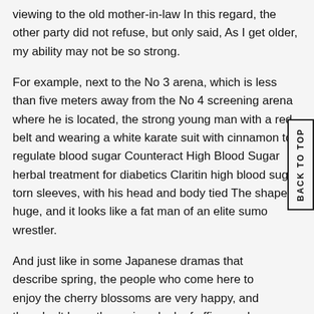viewing to the old mother-in-law In this regard, the other party did not refuse, but only said, As I get older, my ability may not be so strong.
For example, next to the No 3 arena, which is less than five meters away from the No 4 screening arena where he is located, the strong young man with a red belt and wearing a white karate suit with cinnamon to regulate blood sugar Counteract High Blood Sugar herbal treatment for diabetics Claritin high blood sugar torn sleeves, with his head and body tied The shape is huge, and it looks like a fat man of an elite sumo wrestler.
And just like in some Japanese dramas that describe spring, the people who come here to enjoy the cherry blossoms are very happy, and they don't have the serious look of office workers on weekdays They sing and dance, jumping and dancing, creating A relaxed and happy atmosphere Of course, not absolutely Just as there are always good medications similar to Jardiance and bad things.